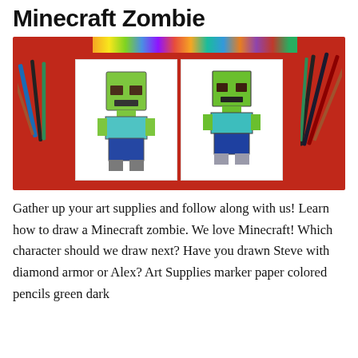Minecraft Zombie
[Figure (photo): Photo of two hand-drawn Minecraft zombie characters on white paper, placed on a red surface surrounded by colored pencils and markers. The left drawing is colored with crayons/colored pencils in a rougher style, and the right drawing is neater. Both zombies have green heads, brown eyes, cyan/blue shirts, and blue pants.]
Gather up your art supplies and follow along with us! Learn how to draw a Minecraft zombie. We love Minecraft! Which character should we draw next? Have you drawn Steve with diamond armor or Alex? Art Supplies marker paper colored pencils green dark